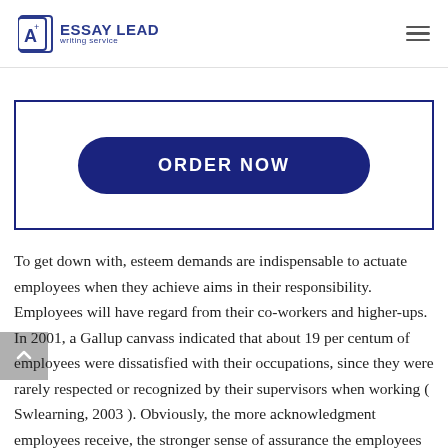ESSAY LEAD writing service
[Figure (other): ORDER NOW button inside a dark blue bordered box]
To get down with, esteem demands are indispensable to actuate employees when they achieve aims in their responsibility. Employees will have regard from their co-workers and higher-ups. In 2001, a Gallup canvass indicated that about 19 per centum of employees were dissatisfied with their occupations, since they were rarely respected or recognized by their supervisors when working ( Swlearning, 2003 ). Obviously, the more acknowledgment employees receive, the stronger sense of assurance the employees will hold. Once their